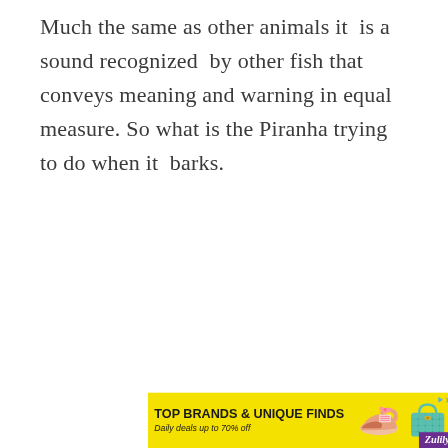Much the same as other animals it  is a sound recognized  by other fish that conveys meaning and warning in equal measure. So what is the Piranha trying to do when it  barks.
[Figure (other): Advertisement banner for Zulily: yellow background with bold text 'TOP BRANDS & UNIQUE FINDS', subtext 'Daily deals up to 70% off', images of a shoe and a handbag, Zulily logo in purple bottom-right corner, play and close buttons top-right.]